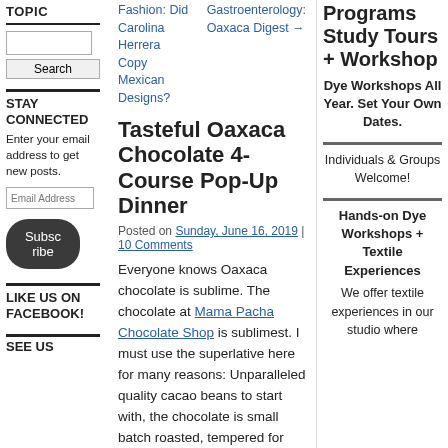TOPIC
Search
STAY CONNECTED
Enter your email address to get new posts.
Email Address
Subscribe
LIKE US ON FACEBOOK!
SEE US
Fashion: Did Carolina Herrera Copy Mexican Designs?
Gastroenterology: Oaxaca Digest →
Tasteful Oaxaca Chocolate 4-Course Pop-Up Dinner
Posted on Sunday, June 16, 2019 | 10 Comments
Everyone knows Oaxaca chocolate is sublime. The chocolate at Mama Pacha Chocolate Shop is sublimest. I must use the superlative here for many reasons: Unparalleled quality cacao beans to start with, the chocolate is small batch roasted, tempered for hours, resulting in a smooth as silk finish. Different from
Programs Study Tours + Workshop
Dye Workshops All Year. Set Your Own Dates.
Individuals & Groups Welcome!
Hands-on Dye Workshops + Textile Experiences
We offer textile experiences in our studio where